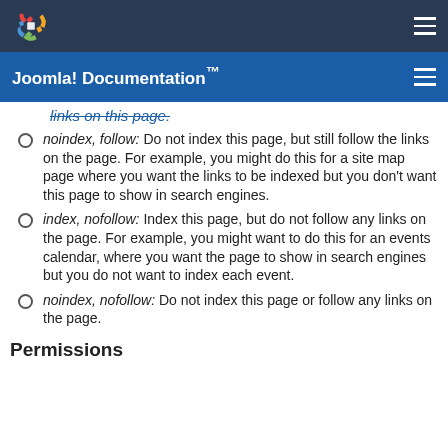Joomla! Documentation™
noindex, follow: Do not index this page, but still follow the links on the page. For example, you might do this for a site map page where you want the links to be indexed but you don't want this page to show in search engines.
index, nofollow: Index this page, but do not follow any links on the page. For example, you might want to do this for an events calendar, where you want the page to show in search engines but you do not want to index each event.
noindex, nofollow: Do not index this page or follow any links on the page.
Permissions